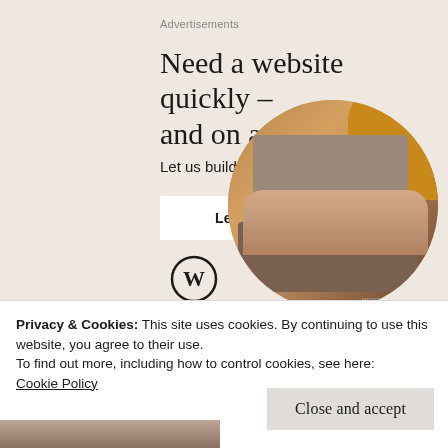Advertisements
Need a website quickly – and on a budget?
Let us build it for you
Let's get started
[Figure (photo): Person wearing an orange/mustard sweater typing on a laptop, shown in a circular crop from above]
[Figure (logo): WordPress logo (W in circle)]
Privacy & Cookies: This site uses cookies. By continuing to use this website, you agree to their use.
To find out more, including how to control cookies, see here:
Cookie Policy
Close and accept
[Figure (photo): Partial photo of person at bottom of page]